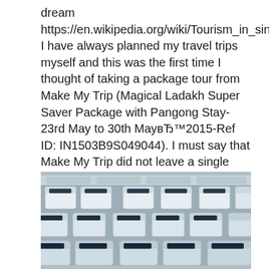dream https://en.wikipedia.org/wiki/Tourism_in_singapore I have always planned my travel trips myself and this was the first time I thought of taking a package tour from Make My Trip (Magical Ladakh Super Saver Package with Pangong Stay-23rd May to 30th MayвЂ™2015-Ref ID: IN1503B9S049044). I must say that Make My Trip did not leave a single chance of disappointing and disgusting me on my 7 nights tour to Ladakh..
[Figure (photo): Photograph of airplane interior showing rows of economy class seats with headrests and in-seat entertainment screens]